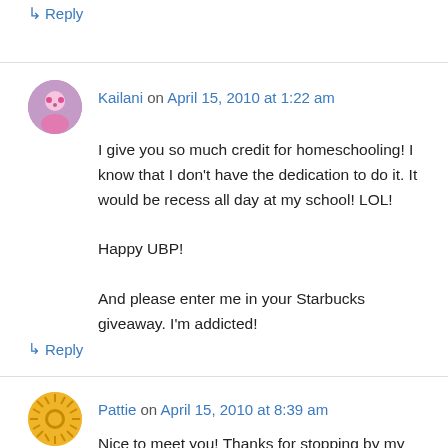↳ Reply
Kailani on April 15, 2010 at 1:22 am
I give you so much credit for homeschooling! I know that I don't have the dedication to do it. It would be recess all day at my school! LOL!

Happy UBP!

And please enter me in your Starbucks giveaway. I'm addicted!
↳ Reply
Pattie on April 15, 2010 at 8:39 am
Nice to meet you! Thanks for stopping by my